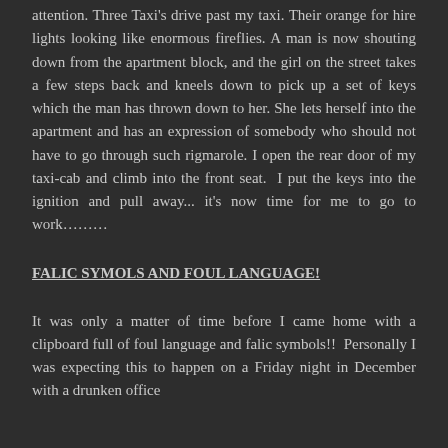attention. Three Taxi's drive past my taxi. Their orange for hire lights looking like enormous fireflies. A man is now shouting down from the apartment block, and the girl on the street takes a few steps back and kneels down to pick up a set of keys which the man has thrown down to her. She lets herself into the apartment and has an expression of somebody who should not have to go through such rigmarole. I open the rear door of my taxi-cab and climb into the front seat.  I put the keys into the ignition and pull away... it's now time for me to go to work………
FALIC SYMOLS AND FOUL LANGUAGE!
It was only a matter of time before I came home with a clipboard full of foul language and falic symbols!!  Personally I was expecting this to happen on a Friday night in December with a drunken office...